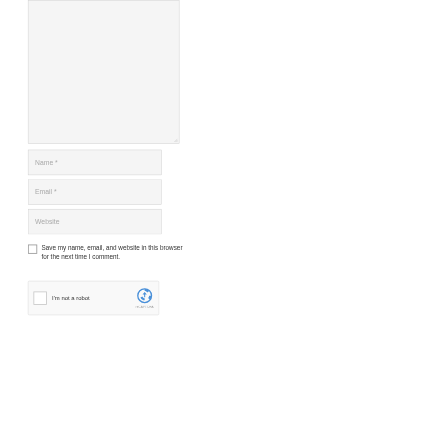[Figure (screenshot): Empty textarea input field with resize handle at bottom-right corner, light gray background with thin border]
Name *
Email *
Website
Save my name, email, and website in this browser for the next time I comment.
[Figure (screenshot): reCAPTCHA widget with checkbox, 'I'm not a robot' text, and reCAPTCHA logo with partial 'reCAPTCHA' label visible]